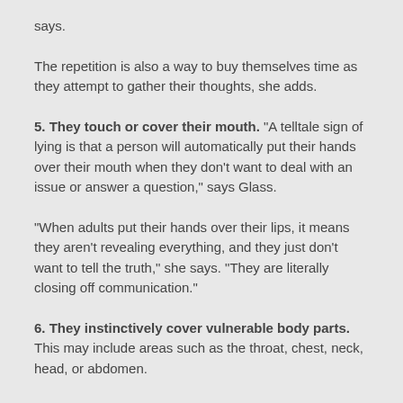says.
The repetition is also a way to buy themselves time as they attempt to gather their thoughts, she adds.
5. They touch or cover their mouth. "A telltale sign of lying is that a person will automatically put their hands over their mouth when they don't want to deal with an issue or answer a question," says Glass.
"When adults put their hands over their lips, it means they aren't revealing everything, and they just don't want to tell the truth," she says. "They are literally closing off communication."
6. They instinctively cover vulnerable body parts. This may include areas such as the throat, chest, neck, head, or abdomen.
"I have often seen this in the courtroom when I work as a consultant for attorneys. I can always tell when someone's